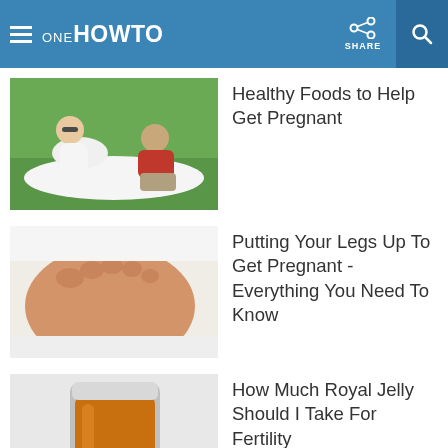ONE HOWTO | SHARE
[Figure (photo): A pregnant woman lying on grass with a man beside her, outdoors on a sunny day]
Healthy Foods to Help Get Pregnant
[Figure (photo): Close-up of bare feet on a white surface, possibly representing a fertility-related article]
Putting Your Legs Up To Get Pregnant - Everything You Need To Know
[Figure (photo): A jar of royal jelly or amber-colored supplement with a white spoon on a light background]
How Much Royal Jelly Should I Take For Fertility